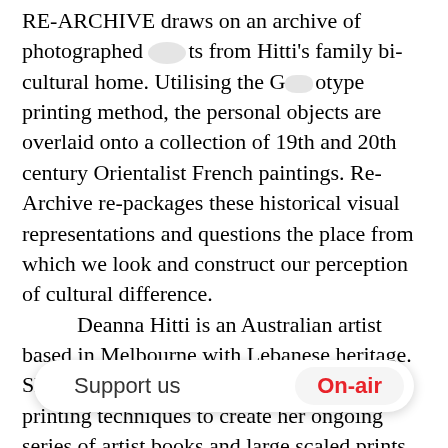RE-ARCHIVE draws on an archive of photographed objects from Hitti's family bi-cultural home. Utilising the Gum Bichromate printing method, the personal objects are overlaid onto a collection of 19th and 20th century Orientalist French paintings. Re-Archive re-packages these historical visual representations and questions the place from which we look and construct our perception of cultural difference.

Deanna Hitti is an Australian artist based in Melbourne with Lebanese heritage. She employs printmaking and photographic printing techniques to create her ongoing series of artist books and large scaled prints. Her artist book Towla is the recipient of the 2018 Fremantle Art Centre Print Award. Her works have been short listed in numerous Australian art prizes and most recently acquired by the 2018 National Works on Paper award. Deanna has exhibited nationally and internationally in group and solo shows and during the past three years, has undertaken research based projects through artist residencies at Bundanon Trust in NSW. Guanlan Printmaking Base, and Biennale Internazionale di Grafica, Urbino. Her works are acquired by major Australian collections including The
[Figure (other): Overlay UI bar showing 'Support us' text and 'On-air' button in red, overlaying the body text at bottom of page.]